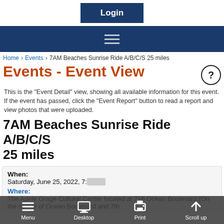[Figure (screenshot): Login button in dark navy blue]
[Figure (screenshot): Blue navigation bar with hamburger menu icon]
Home › Events › 7AM Beaches Sunrise Ride A/B/C/S 25 miles
Events - Event View
This is the "Event Detail" view, showing all available information for this event. If the event has passed, click the "Event Report" button to read a report and view photos that were uploaded.
7AM Beaches Sunrise Ride A/B/C/S 25 miles
When: Saturday, June 25, 2022, 7:00 AM
Where: The Adele Grage Cultural Center located at 716 Ocean Boulevard (On the corner of Ocean Boulevard and 7th
[Figure (screenshot): Bottom toolbar with Menu, Desktop, Print, Scroll up options]